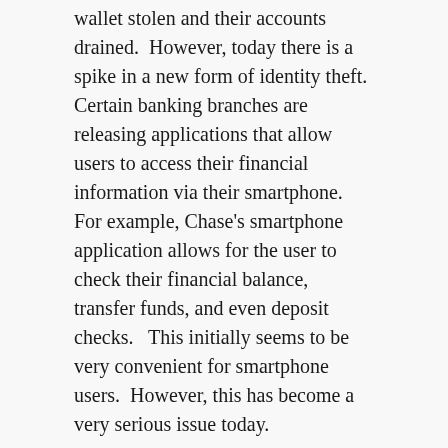wallet stolen and their accounts drained.  However, today there is a spike in a new form of identity theft.  Certain banking branches are releasing applications that allow users to access their financial information via their smartphone.  For example, Chase's smartphone application allows for the user to check their financial balance, transfer funds, and even deposit checks.   This initially seems to be very convenient for smartphone users.  However, this has become a very serious issue today.
Recently there has been a number of seminars taking place.  These seminars began in 2008 courtesy of the National Foundation for Credit Counseling.  The seminars have shifted gears.  They are now strongly urging the protection of financial information as it is used through smartphones.  “Although smartphones brought great convenience into people’s lives, they also brought with them greater opportunity for thieves to